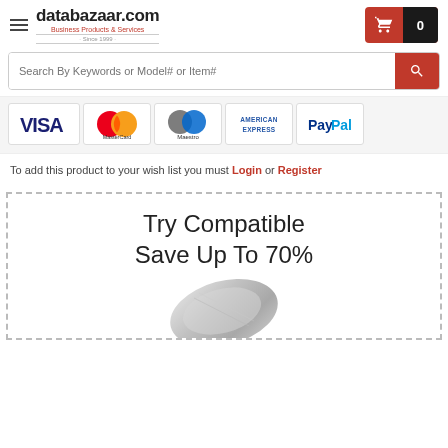databazaar.com — Business Products & Services · Since 1999
Search By Keywords or Model# or Item#
[Figure (logo): Payment method logos: VISA, MasterCard, Maestro, American Express, PayPal]
To add this product to your wish list you must Login or Register
Try Compatible
Save Up To 70%
[Figure (photo): Compatible product image (silver metallic package)]